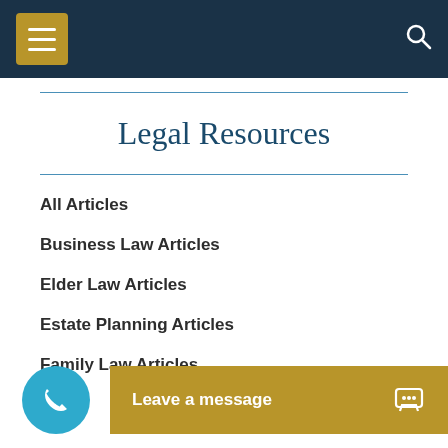Navigation bar with menu and search
Legal Resources
All Articles
Business Law Articles
Elder Law Articles
Estate Planning Articles
Family Law Articles
Leave a message